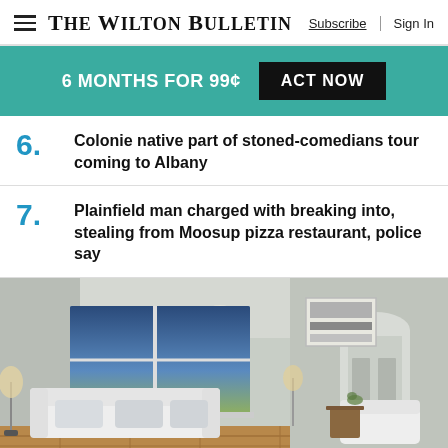The Wilton Bulletin  Subscribe  Sign In
6 MONTHS FOR 99¢  ACT NOW
6. Colonie native part of stoned-comedians tour coming to Albany
7. Plainfield man charged with breaking into, stealing from Moosup pizza restaurant, police say
[Figure (photo): Interior photo of a bright, modern living room with white sofas, large windows showing a lake view at dusk, arched doorway leading to a hallway, and framed artwork on the wall.]